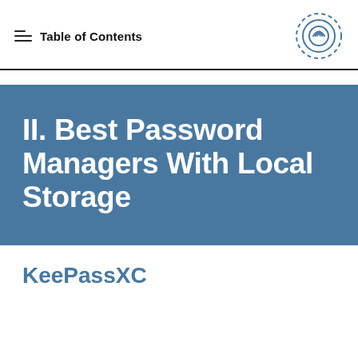Table of Contents
II. Best Password Managers With Local Storage
KeePassXC